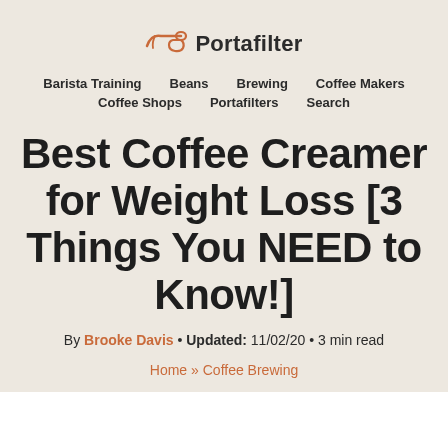Portafilter
Barista Training   Beans   Brewing   Coffee Makers   Coffee Shops   Portafilters   Search
Best Coffee Creamer for Weight Loss [3 Things You NEED to Know!]
By Brooke Davis • Updated: 11/02/20 • 3 min read
Home » Coffee Brewing